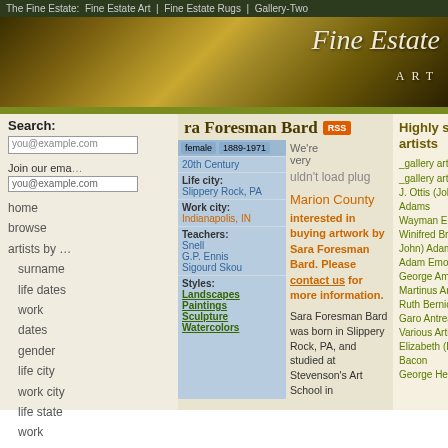The Fine Estate: Fine Estate Art | Fine Estate Rugs | Gallery-Two
[Figure (illustration): Fine Estate Art banner with gold/brown texture and italic serif text reading 'Fine Estate ART']
Sara Foresman Bard
| Field | Value |
| --- | --- |
| female | 1889-1971 |
|  | 20th Century |
| Life city: | Slippery Rock, PA |
| Work city: | Indianapolis, IN |
| Teachers: | Snell, G.P. Ennis, Sigourd Skou |
| Styles: | Landscapes, Paintings, Sculpture, Watercolors |
We're very
uldn't load plug
Marion County
interested in buying artwork by Sara Foresman Bard. Please contact us for more information.
Sara Foresman Bard was born in Slippery Rock, PA, and studied at Stevenson's Art School in
Highly sought artists
_gallery art
_gallery art
J. Ottis (John Ottis) Adams
Wayman E. Adams
Winifred Brady (Mrs. John) Adams
Adam Emory Albright
George Ames Aldrich
Martinus Anderson
Ruth Bernice Anderson
Garo Antreasian
Various Artists
Elizabeth (Beth) Driggs Bacon
George Herbert Baker